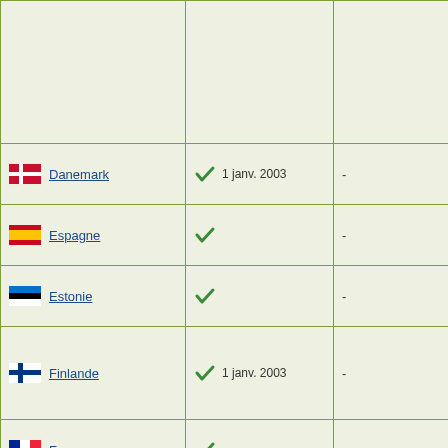| Pays | Statut | Info |
| --- | --- | --- |
|  |  |  |
| Danemark | ✓ 1 janv. 2003 | - |
| Espagne | ✓ | - |
| Estonie | ✓ | - |
| Finlande | ✓ 1 janv. 2003 | - |
| France | ✓ | - |
| Grèce | ✓ 28 mai 2008 | - |
| Hongrie | ✓ | - |